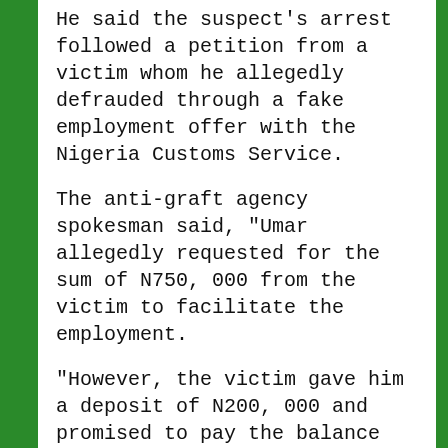He said the suspect's arrest followed a petition from a victim whom he allegedly defrauded through a fake employment offer with the Nigeria Customs Service.
The anti-graft agency spokesman said, "Umar allegedly requested for the sum of N750, 000 from the victim to facilitate the employment.
"However, the victim gave him a deposit of N200, 000 and promised to pay the balance when he gets his appointment letter.
"The victim was issued an appointment letter, but upon presentation it was discovered to be fake. The distraught victim consequently petitioned the EFCC, leading to the arrest of the suspect."
According to him, the suspect's accomplice, one Alhaji Isa Musa is still at large.